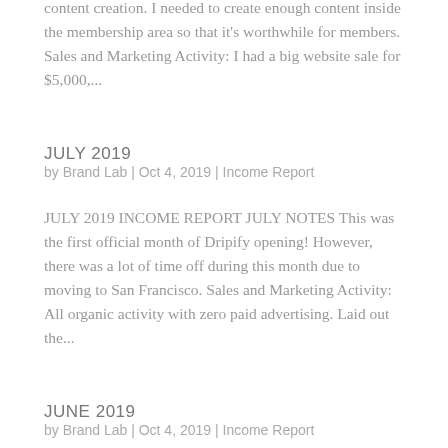content creation. I needed to create enough content inside the membership area so that it's worthwhile for members. Sales and Marketing Activity: I had a big website sale for $5,000,...
JULY 2019
by Brand Lab | Oct 4, 2019 | Income Report
JULY 2019 INCOME REPORT JULY NOTES This was the first official month of Dripify opening! However, there was a lot of time off during this month due to moving to San Francisco. Sales and Marketing Activity: All organic activity with zero paid advertising. Laid out the...
JUNE 2019
by Brand Lab | Oct 4, 2019 | Income Report
JUNE 2019 INCOME REPORT JUNE NOTES June